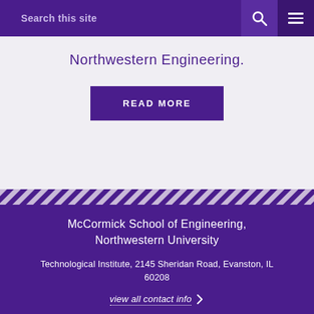Search this site
Northwestern Engineering.
READ MORE
McCormick School of Engineering, Northwestern University
Technological Institute, 2145 Sheridan Road, Evanston, IL 60208
view all contact info